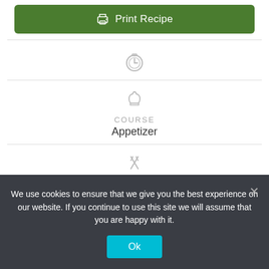[Figure (other): Green button with printer icon and text 'Print Recipe']
[Figure (other): Timer/clock icon (gray outline)]
[Figure (other): Chef hat icon (gray outline)]
COURSE
Appetizer
[Figure (other): Fork and knife crossed icon (gray outline)]
SERVINGS
12
INGREDIENTS
We use cookies to ensure that we give you the best experience on our website. If you continue to use this site we will assume that you are happy with it.